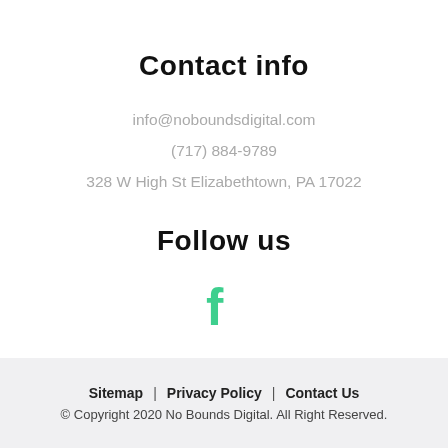Contact info
info@noboundsdigital.com
(717) 884-9789
328 W High St Elizabethtown, PA 17022
Follow us
[Figure (logo): Facebook icon in green/teal color]
Sitemap | Privacy Policy | Contact Us
© Copyright 2020 No Bounds Digital. All Right Reserved.